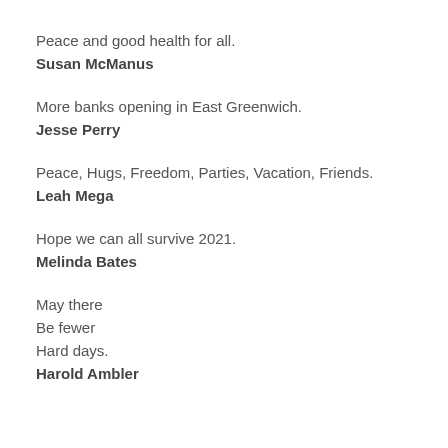Peace and good health for all.
Susan McManus
More banks opening in East Greenwich.
Jesse Perry
Peace, Hugs, Freedom, Parties, Vacation, Friends.
Leah Mega
Hope we can all survive 2021.
Melinda Bates
May there
Be fewer
Hard days.
Harold Ambler